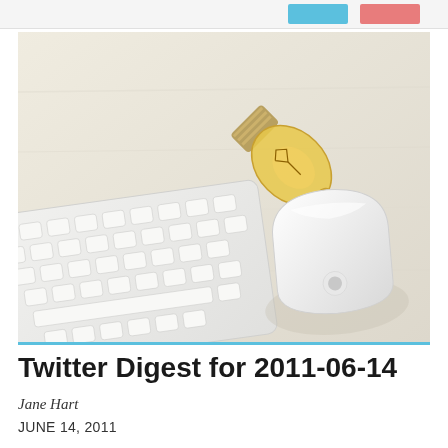[Figure (photo): Overhead view of a white Apple keyboard and white Apple Magic Mouse on a light wood surface, with a vintage Edison-style incandescent light bulb lying diagonally on the desk]
Twitter Digest for 2011-06-14
Jane Hart
JUNE 14, 2011